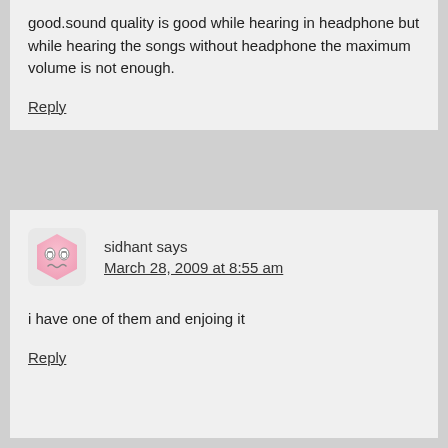good.sound quality is good while hearing in headphone but while hearing the songs without headphone the maximum volume is not enough.
Reply
sidhant says
March 28, 2009 at 8:55 am
i have one of them and enjoing it
Reply